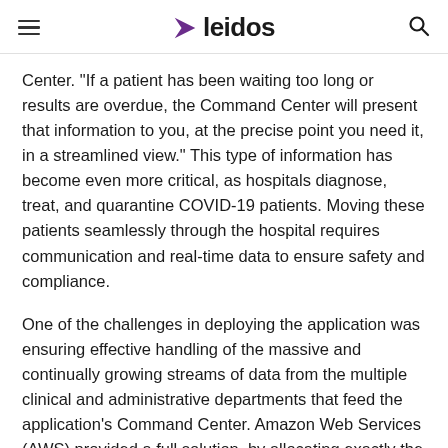leidos
Center. “If a patient has been waiting too long or results are overdue, the Command Center will present that information to you, at the precise point you need it, in a streamlined view.” This type of information has become even more critical, as hospitals diagnose, treat, and quarantine COVID-19 patients. Moving these patients seamlessly through the hospital requires communication and real-time data to ensure safety and compliance.
One of the challenges in deploying the application was ensuring effective handling of the massive and continually growing streams of data from the multiple clinical and administrative departments that feed the application’s Command Center. Amazon Web Services (AWS) provided a full solution, by allocating exactly the right amount of